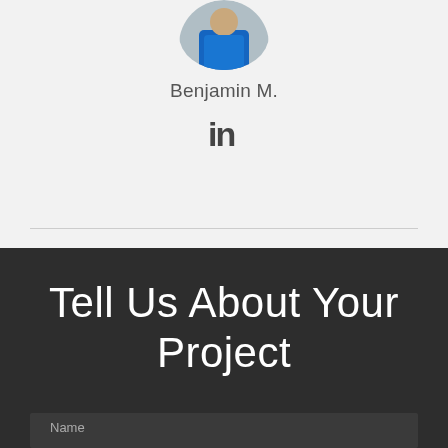[Figure (photo): Circular profile photo of a person wearing a blue jacket, cropped at the top of the page]
Benjamin M.
[Figure (logo): LinkedIn 'in' icon in dark gray]
Tell Us About Your Project
Name